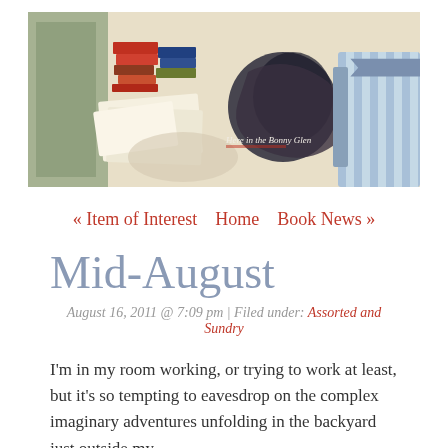[Figure (illustration): Blog header banner showing an illustrated scene of a cozy room with books, papers, and a striped sofa. Text badge reads 'Here in the Bonny Glen' on a blue ribbon banner in the lower right.]
« Item of Interest   Home   Book News »
Mid-August
August 16, 2011 @ 7:09 pm | Filed under: Assorted and Sundry
I'm in my room working, or trying to work at least, but it's so tempting to eavesdrop on the complex imaginary adventures unfolding in the backyard just outside my